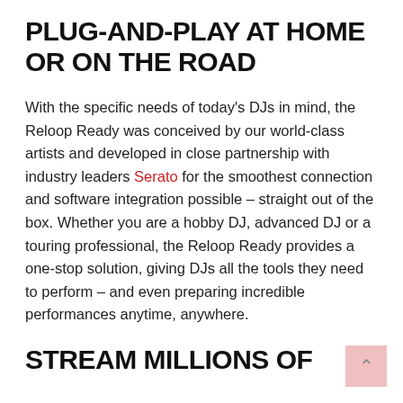PLUG-AND-PLAY AT HOME OR ON THE ROAD
With the specific needs of today's DJs in mind, the Reloop Ready was conceived by our world-class artists and developed in close partnership with industry leaders Serato for the smoothest connection and software integration possible – straight out of the box. Whether you are a hobby DJ, advanced DJ or a touring professional, the Reloop Ready provides a one-stop solution, giving DJs all the tools they need to perform – and even preparing incredible performances anytime, anywhere.
STREAM MILLIONS OF